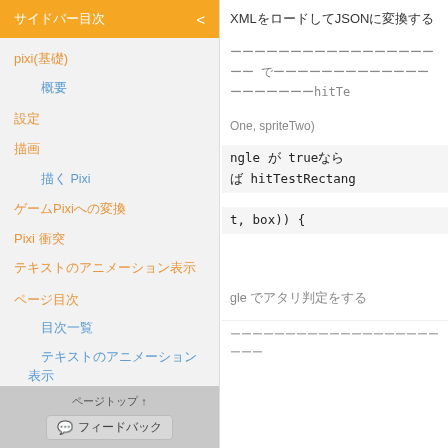（サイドバータイトル） < XMLをロードしてJSONに変換する
pixi（基礎）
概要
設定
描画
Pixiを使う
ゲームPixiへの変換
Pixi 衝突
テキストのアニメーション表示
ページ目次
目次一覧
テキストのアニメーション表示
ページ目次
ページトップ ↑
フィードバック
XMLをロードしてJSONに変換する
One, spriteTwo)
ngle が true ならば hitTestRectangle(
t, box)) {
gle でアタリ判定をする